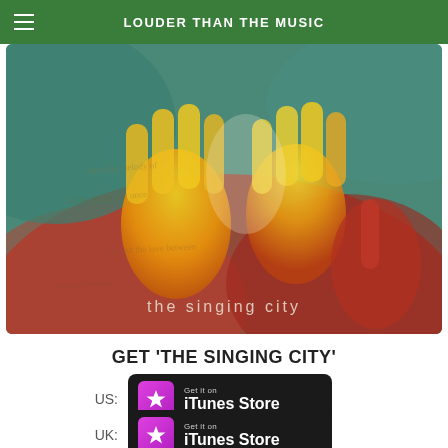LOUDER THAN THE MUSIC
[Figure (illustration): Album artwork for 'the singing city' - abstract colorful image with hand prints in yellow, orange, red on a teal/green background with cursive text overlay. The text 'the singing city' appears at the bottom.]
GET 'THE SINGING CITY'
[Figure (other): iTunes Store badge with pink/purple star icon and text 'Get it on iTunes Store' on black background - US link]
[Figure (other): iTunes Store badge with pink/purple star icon and text 'Get it on iTunes Store' on black background - UK link]